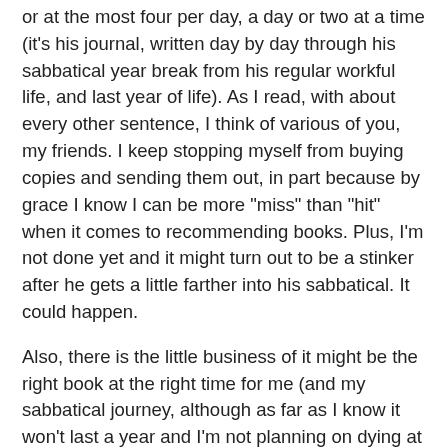or at the most four per day, a day or two at a time (it's his journal, written day by day through his sabbatical year break from his regular workful life, and last year of life). As I read, with about every other sentence, I think of various of you, my friends. I keep stopping myself from buying copies and sending them out, in part because by grace I know I can be more "miss" than "hit" when it comes to recommending books. Plus, I'm not done yet and it might turn out to be a stinker after he gets a little farther into his sabbatical. It could happen.
Also, there is the little business of it might be the right book at the right time for me (and my sabbatical journey, although as far as I know it won't last a year and I'm not planning on dying at the end and I think I might be working harder than he did on his; in this it-could-just-be-me vein, I am the one who found reading "The Year of Magical Thinking" as quickly as I could, staying up all night to finish it, just two months after my dad died actually helpful, not "too soon").
So I decided just to mention it here. If you'd like to taste a book that, through intimate and somewhat random